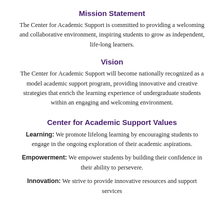Mission Statement
The Center for Academic Support is committed to providing a welcoming and collaborative environment, inspiring students to grow as independent, life-long learners.
Vision
The Center for Academic Support will become nationally recognized as a model academic support program, providing innovative and creative strategies that enrich the learning experience of undergraduate students within an engaging and welcoming environment.
Center for Academic Support Values
Learning: We promote lifelong learning by encouraging students to engage in the ongoing exploration of their academic aspirations.
Empowerment: We empower students by building their confidence in their ability to persevere.
Innovation: We strive to provide innovative resources and support services